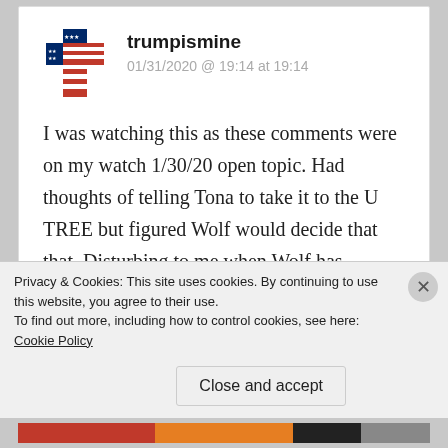[Figure (illustration): User avatar: a cross decorated with American flag stars and stripes pattern]
trumpismine
01/31/2020 @ 19:14 at 19:14
I was watching this as these comments were on my watch 1/30/20 open topic. Had thoughts of telling Tona to take it to the U TREE but figured Wolf would decide that that. Disturbing to me when Wolf has outlined the guidelines on civility and went so far as to start the U TREE because of his high
Privacy & Cookies: This site uses cookies. By continuing to use this website, you agree to their use.
To find out more, including how to control cookies, see here: Cookie Policy
Close and accept